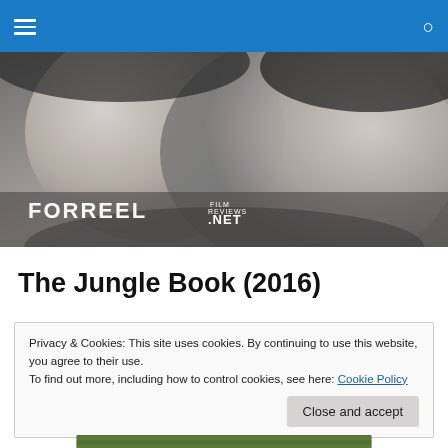Navigation bar with hamburger menu and search icon
[Figure (photo): Black and white close-up photo of two people's faces leaning toward each other, with FORREEL FILM REVIEWS .NET logo overlaid in bottom left]
The Jungle Book (2016)
Privacy & Cookies: This site uses cookies. By continuing to use this website, you agree to their use.
To find out more, including how to control cookies, see here: Cookie Policy
Close and accept
[Figure (photo): Partial bottom edge showing a jungle/nature scene image]